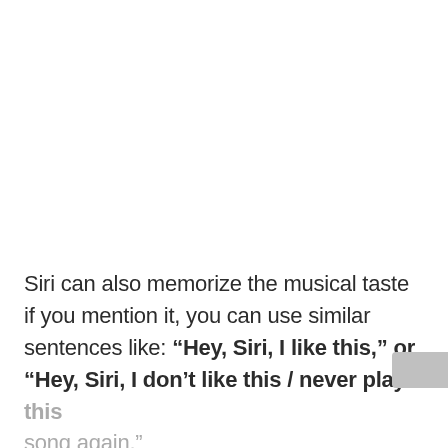Siri can also memorize the musical taste if you mention it, you can use similar sentences like: “Hey, Siri, I like this,” or “Hey, Siri, I don’t like this / never play this song again.”